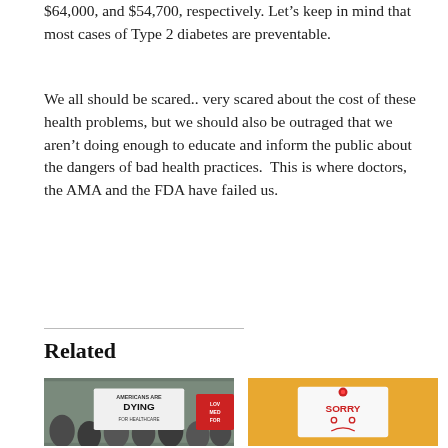$64,000, and $54,700, respectively. Let's keep in mind that most cases of Type 2 diabetes are preventable.
We all should be scared.. very scared about the cost of these health problems, but we should also be outraged that we aren't doing enough to educate and inform the public about the dangers of bad health practices.  This is where doctors, the AMA and the FDA have failed us.
Related
[Figure (photo): Crowd of people at a protest, holding signs that read 'AMERICANS ARE DYING FOR HEALTHCARE' and 'LOVE MED FOR']
[Figure (photo): A white sticky note pinned with a red thumbtack on a yellow background, with 'SORRY' written and a sad face drawn on it]